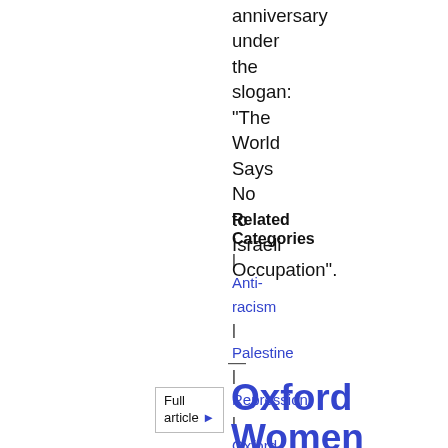anniversary under the slogan: "The World Says No to Israeli Occupation".
Related Categories
|
Anti-racism
|
Palestine
|
Repression
|
Oxford
—
Full article ▶
Oxford Women in Black